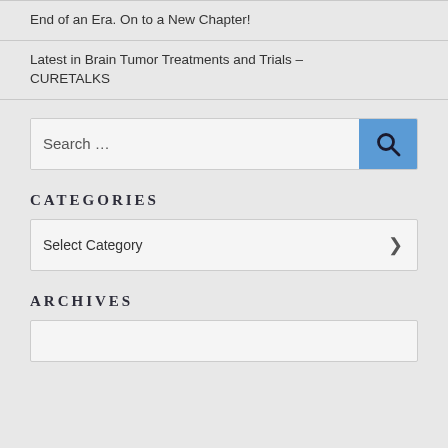End of an Era. On to a New Chapter!
Latest in Brain Tumor Treatments and Trials – CURETALKS
[Figure (screenshot): Search box with text 'Search ...' and a blue search button with magnifying glass icon]
CATEGORIES
[Figure (screenshot): Dropdown select box labeled 'Select Category' with a chevron arrow on the right]
ARCHIVES
[Figure (screenshot): Empty archives dropdown box, partially visible]